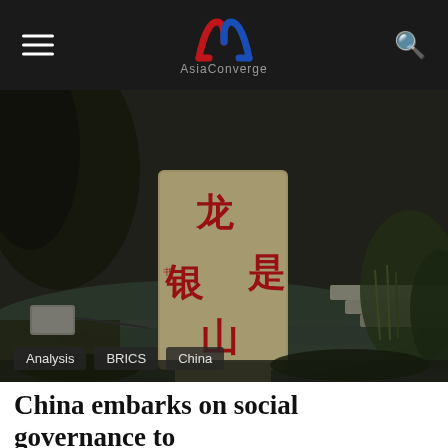AsiaConverge
[Figure (photo): Outdoor scene in China featuring a large stone monument with red Chinese characters inscribed on it, set in a garden-like environment with a pond, vegetation, and steps in the background.]
Analysis
BRICS
China
China embarks on social governance to